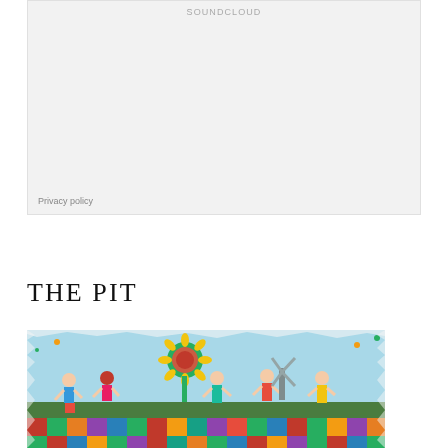[Figure (screenshot): SoundCloud embedded player widget with light grey background and Privacy policy link at bottom left]
THE PIT
[Figure (illustration): Children's colorful drawing showing kids playing outdoors with a large sunflower, bright sky, and a patchwork ground made of colored squares]